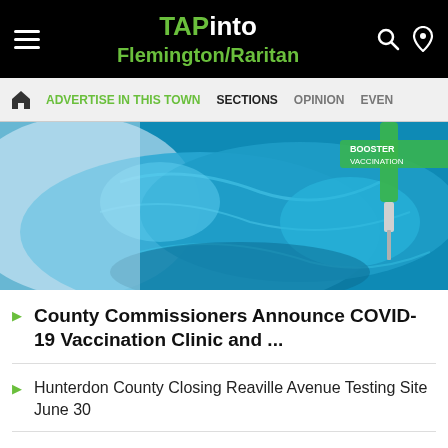TAPinto Flemington/Raritan
ADVERTISE IN THIS TOWN  SECTIONS  OPINION  EVEN
[Figure (photo): Close-up photo of blue latex-gloved hands holding a syringe and a vial labeled 'BOOSTER VACCINATION']
County Commissioners Announce COVID-19 Vaccination Clinic and ...
Hunterdon County Closing Reaville Avenue Testing Site June 30
Honor Yoga to Offer Free Yoga Classes Saturday Mornings and Thursday ...